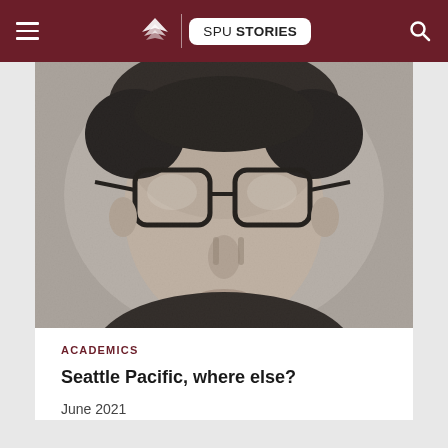SPU STORIES
[Figure (photo): Black and white close-up portrait photo of a young man wearing thick-framed glasses, cropped at forehead and chin]
ACADEMICS
Seattle Pacific, where else?
June 2021